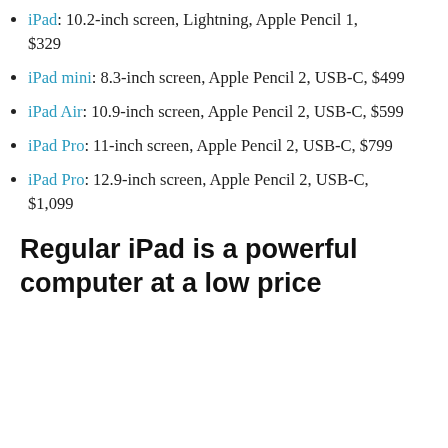iPad: 10.2-inch screen, Lightning, Apple Pencil 1, $329
iPad mini: 8.3-inch screen, Apple Pencil 2, USB-C, $499
iPad Air: 10.9-inch screen, Apple Pencil 2, USB-C, $599
iPad Pro: 11-inch screen, Apple Pencil 2, USB-C, $799
iPad Pro: 12.9-inch screen, Apple Pencil 2, USB-C, $1,099
Regular iPad is a powerful computer at a low price